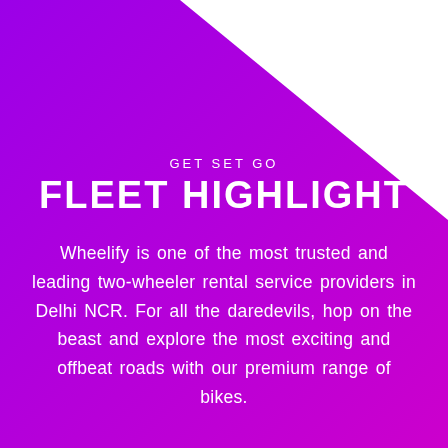[Figure (illustration): Purple-to-magenta gradient background with a white triangular area in the upper portion of the page, creating a diagonal split design.]
GET SET GO
FLEET HIGHLIGHT
Wheelify is one of the most trusted and leading two-wheeler rental service providers in Delhi NCR. For all the daredevils, hop on the beast and explore the most exciting and offbeat roads with our premium range of bikes.